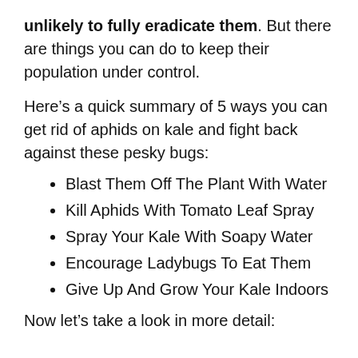unlikely to fully eradicate them. But there are things you can do to keep their population under control.
Here’s a quick summary of 5 ways you can get rid of aphids on kale and fight back against these pesky bugs:
Blast Them Off The Plant With Water
Kill Aphids With Tomato Leaf Spray
Spray Your Kale With Soapy Water
Encourage Ladybugs To Eat Them
Give Up And Grow Your Kale Indoors
Now let’s take a look in more detail: